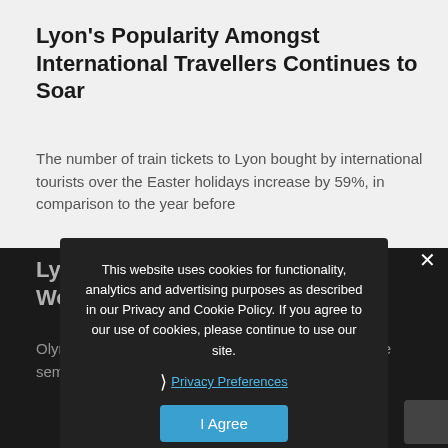Lyon's Popularity Amongst International Travellers Continues to Soar
The number of train tickets to Lyon bought by international tourists over the Easter holidays increase by 59%, in comparison to the year before
Lyon: At the heart of the FIFA Women's Football World Cup
Olympique Lyonnais' Groupama Stadium will host the semi finals and finals in July 2019.
This website uses cookies for functionality, analytics and advertising purposes as described in our Privacy and Cookie Policy. If you agree to our use of cookies, please continue to use our site.
Privacy Preferences
I Agree